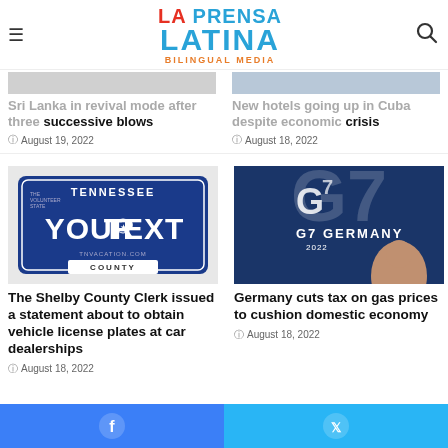[Figure (logo): La Prensa Latina Bilingual Media logo]
Sri Lanka in revival mode after three successive blows
August 19, 2022
New hotels going up in Cuba despite economic crisis
August 18, 2022
[Figure (photo): Tennessee license plate sample with YOUR TEXT and COUNTY]
The Shelby County Clerk issued a statement about to obtain vehicle license plates at car dealerships
August 18, 2022
[Figure (photo): G7 Germany 2022 sign with a person speaking in front of it]
Germany cuts tax on gas prices to cushion domestic economy
August 18, 2022
Facebook Twitter social share buttons